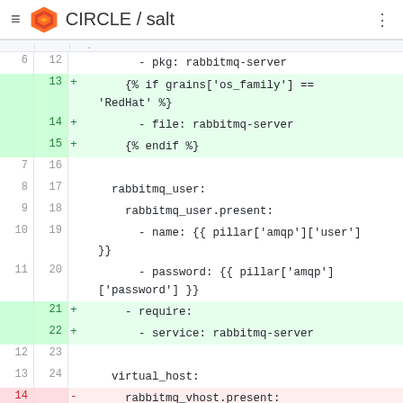CIRCLE / salt
[Figure (screenshot): Git diff view showing changes to a SaltStack configuration file. Lines 6-16 (old) and 12-24 (new) are shown. Green highlighted lines (added): lines 13-15 add Jinja2 conditionals for RedHat os_family with a file entry and endif block; lines 21-22 add a require: service: rabbitmq-server block. Red highlighted lines (removed): lines 14-16 remove rabbitmq_vhost.present configuration. Normal lines show rabbitmq_user: rabbitmq_user.present with name and password pillar lookups, and virtual_host: section.]